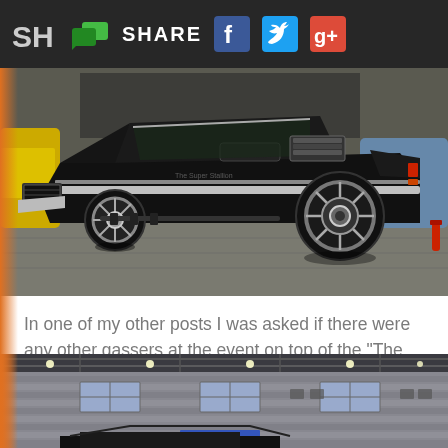SH | SHARE [Facebook] [Twitter] [Google+]
[Figure (photo): Side view of a black 1957 Chevrolet gasser drag car on display at an indoor auto show. The car has a raised front end stance with large rear tires and chrome wheels, typical of gasser-style builds. Other classic cars visible in the background.]
In one of my other posts I was asked if there were any other gassers at the event on top of the “The Rocket” we saw being driven into the front of the exhibition center…
[Figure (photo): Interior view of an exhibition center or convention hall showing the building's facade inside, with grey siding panels, windows, overhead structure with lights, and the top of a dark car entering from the bottom of the frame.]